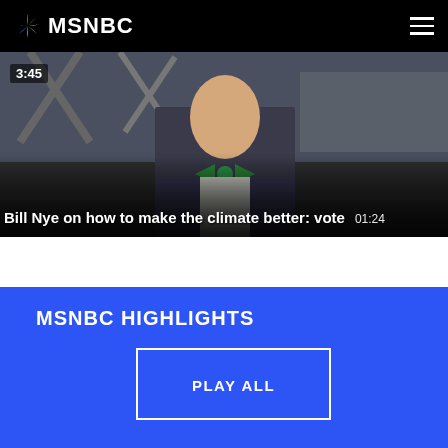MSNBC
[Figure (screenshot): Video thumbnail showing a man in bow tie with 3:45 timestamp overlay. Video title: Bill Nye on how to make the climate better: vote. Duration: 01:24]
MSNBC HIGHLIGHTS
PLAY ALL